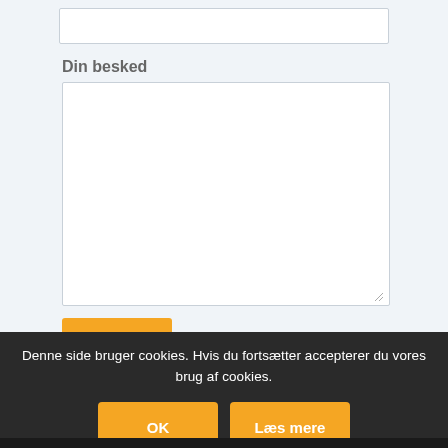Din besked
Denne side bruger cookies. Hvis du fortsætter accepterer du vores brug af cookies.
OK
Læs mere